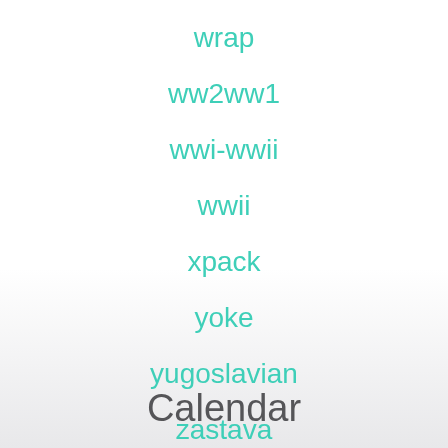wrap
ww2ww1
wwi-wwii
wwii
xpack
yoke
yugoslavian
zastava
Calendar